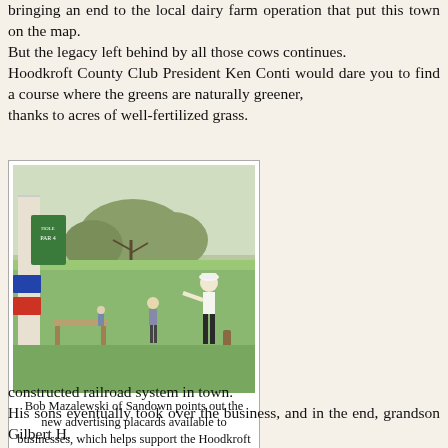bringing an end to the local dairy farm operation that put this town on the map.
But the legacy left behind by all those cows continues.
Hoodkroft County Club President Ken Conti would dare you to find a course where the greens are naturally greener, thanks to acres of well-fertilized grass.
[Figure (photo): Golfers on a green field at Hoodkroft Country Club; a man in white hat and dark pants points toward advertising placards on a post.]
Bob Mazalewski of Sandown points out the new advertising placards available to businesses, which helps support the Hoodkroft Country Club.
Mostly, though, local golfers are grateful for the legacy left behind by the father of Hood Inc., one Harvey Perley Hood, a humble milkman who moved from Boston to Derry Village in 1856 to see if he could build a business with the help of the newly constructed railroad system in town.
His sons eventually took over the business, and in the end, grandson Gilbert H.